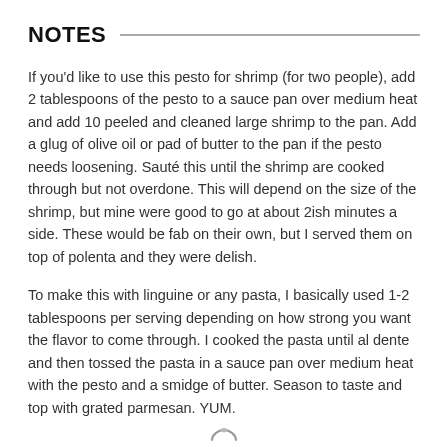NOTES
If you'd like to use this pesto for shrimp (for two people), add 2 tablespoons of the pesto to a sauce pan over medium heat and add 10 peeled and cleaned large shrimp to the pan. Add a glug of olive oil or pad of butter to the pan if the pesto needs loosening. Sauté this until the shrimp are cooked through but not overdone. This will depend on the size of the shrimp, but mine were good to go at about 2ish minutes a side. These would be fab on their own, but I served them on top of polenta and they were delish.
To make this with linguine or any pasta, I basically used 1-2 tablespoons per serving depending on how strong you want the flavor to come through. I cooked the pasta until al dente and then tossed the pasta in a sauce pan over medium heat with the pesto and a smidge of butter. Season to taste and top with grated parmesan. YUM.